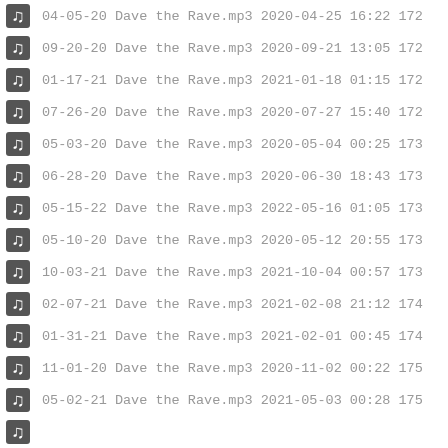04-05-20 Dave the Rave.mp3 2020-04-25 16:22 172
09-20-20 Dave the Rave.mp3 2020-09-21 13:05 172
01-17-21 Dave the Rave.mp3 2021-01-18 01:15 172
07-26-20 Dave the Rave.mp3 2020-07-27 15:40 172
05-03-20 Dave the Rave.mp3 2020-05-04 00:25 173
06-28-20 Dave the Rave.mp3 2020-06-30 18:43 173
05-15-22 Dave the Rave.mp3 2022-05-16 01:05 173
05-10-20 Dave the Rave.mp3 2020-05-12 20:55 173
10-03-21 Dave the Rave.mp3 2021-10-04 00:57 173
02-07-21 Dave the Rave.mp3 2021-02-08 21:12 174
01-31-21 Dave the Rave.mp3 2021-02-01 00:45 174
11-01-20 Dave the Rave.mp3 2020-11-02 00:22 175
05-02-21 Dave the Rave.mp3 2021-05-03 00:28 175